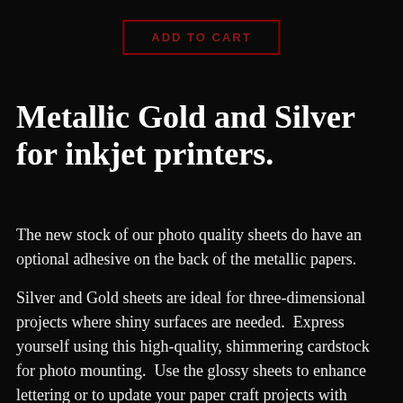[Figure (other): ADD TO CART button with red border on black background]
Metallic Gold and Silver for inkjet printers.
The new stock of our photo quality sheets do have an optional adhesive on the back of the metallic papers.
Silver and Gold sheets are ideal for three-dimensional projects where shiny surfaces are needed.  Express yourself using this high-quality, shimmering cardstock for photo mounting.  Use the glossy sheets to enhance lettering or to update your paper craft projects with silver or gold accents.